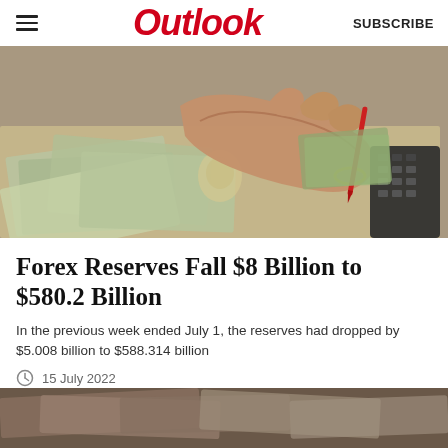Outlook | SUBSCRIBE
[Figure (photo): A hand holding a fan of US $100 dollar bills over a pile of currency notes including Indian rupees, with a calculator and red pen in the background.]
Forex Reserves Fall $8 Billion to $580.2 Billion
In the previous week ended July 1, the reserves had dropped by $5.008 billion to $588.314 billion
15 July 2022
[Figure (photo): Partial bottom image showing currency notes, likely Indian rupees, blurred/cropped.]